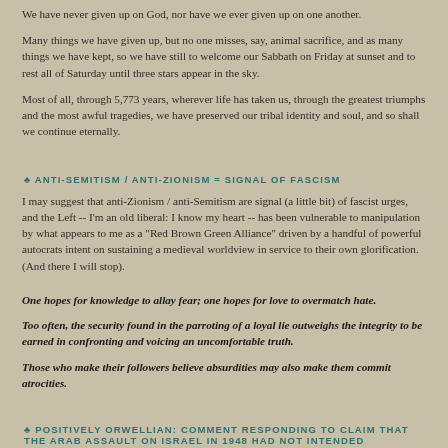We have never given up on God, nor have we ever given up on one another.
Many things we have given up, but no one misses, say, animal sacrifice, and as many things we have kept, so we have still to welcome our Sabbath on Friday at sunset and to rest all of Saturday until three stars appear in the sky.
Most of all, through 5,773 years, wherever life has taken us, through the greatest triumphs and the most awful tragedies, we have preserved our tribal identity and soul, and so shall we continue eternally.
♣ ANTI-SEMITISM / ANTI-ZIONISM = SIGNAL OF FASCISM
I may suggest that anti-Zionism / anti-Semitism are signal (a little bit) of fascist urges, and the Left -- I'm an old liberal: I know my heart -- has been vulnerable to manipulation by what appears to me as a "Red Brown Green Alliance" driven by a handful of powerful autocrats intent on sustaining a medieval worldview in service to their own glorification. (And there I will stop).
One hopes for knowledge to allay fear; one hopes for love to overmatch hate.
Too often, the security found in the parroting of a loyal lie outweighs the integrity to be earned in confronting and voicing an uncomfortable truth.
Those who make their followers believe absurdities may also make them commit atrocities.
♣ POSITIVELY ORWELLIAN: COMMENT RESPONDING TO CLAIM THAT THE ARAB ASSAULT ON ISRAEL IN 1948 HAD NOT INTENDED ANNIHILATION
“Revisionism” is the most contemptible path that power takes to abet theft and hide